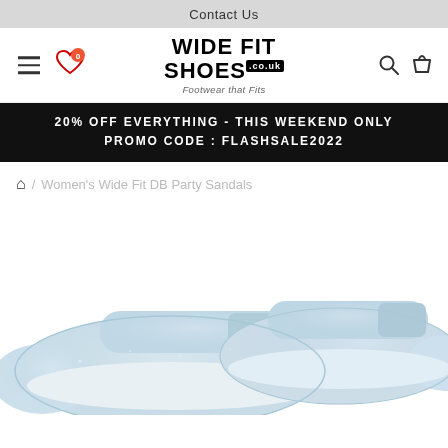Contact Us
[Figure (logo): Wide Fit Shoes logo with tagline 'Footwear that Fits', hamburger menu, heart/wishlist button with 0 badge, search and cart icons]
20% OFF EVERYTHING - THIS WEEKEND ONLY PROMO CODE : FLASHSALE2022
/ Women's Wide Fit DB Party Sandals
[Figure (photo): Women's light blue glittery/sparkly wide fit flat ballet-style party sandals with velcro strap, shown from a slightly elevated angle against white background]